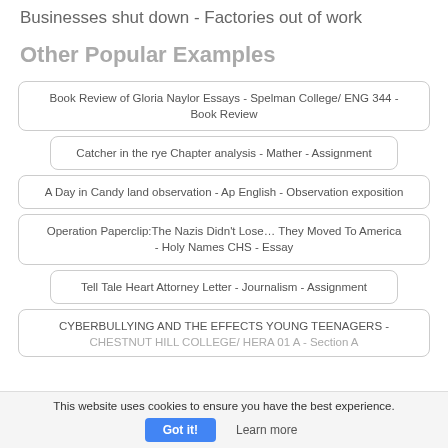Businesses shut down - Factories out of work
Other Popular Examples
Book Review of Gloria Naylor Essays - Spelman College/ ENG 344 - Book Review
Catcher in the rye Chapter analysis - Mather - Assignment
A Day in Candy land observation - Ap English - Observation exposition
Operation Paperclip:The Nazis Didn't Lose… They Moved To America - Holy Names CHS - Essay
Tell Tale Heart Attorney Letter - Journalism - Assignment
CYBERBULLYING AND THE EFFECTS YOUNG TEENAGERS - CHESTNUT HILL COLLEGE/ HERA 01 A - Section A
This website uses cookies to ensure you have the best experience.